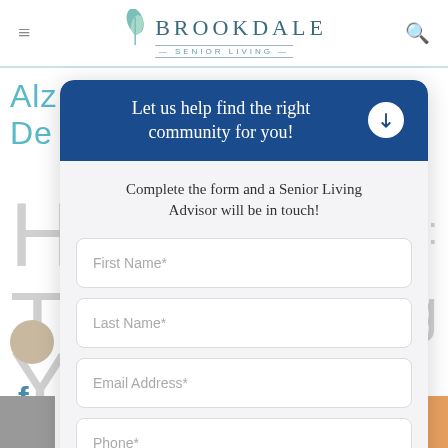[Figure (screenshot): Brookdale Senior Living website navigation bar with hamburger menu icon, logo with leaf graphic, and search icon]
[Figure (screenshot): Modal popup overlay on Brookdale Senior Living website with dark blue header 'Let us help find the right community for you!', subtitle text, and form fields for First Name, Last Name, Email Address, and Phone]
Let us help find the right community for you!
Complete the form and a Senior Living Advisor will be in touch!